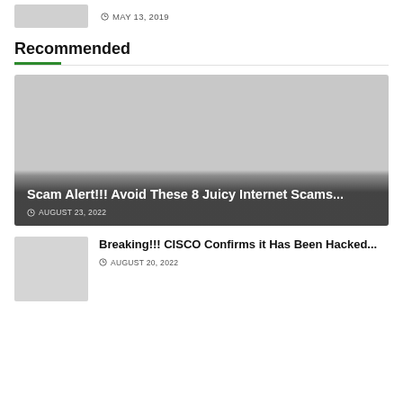MAY 13, 2019
Recommended
[Figure (photo): Large featured article image with dark gradient overlay showing article about internet scams]
Scam Alert!!! Avoid These 8 Juicy Internet Scams...
AUGUST 23, 2022
[Figure (photo): Small thumbnail image for CISCO hacking article]
Breaking!!! CISCO Confirms it Has Been Hacked...
AUGUST 20, 2022